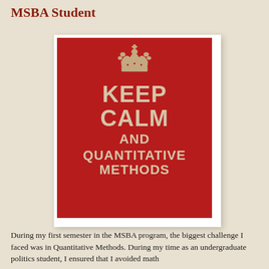MSBA Student
[Figure (illustration): A 'Keep Calm and Quantitative Methods' poster in the style of the British 'Keep Calm and Carry On' poster — red background with a crown icon and bold text in tan/beige color.]
During my first semester in the MSBA program, the biggest challenge I faced was in Quantitative Methods. During my time as an undergraduate politics student, I ensured that I avoided math